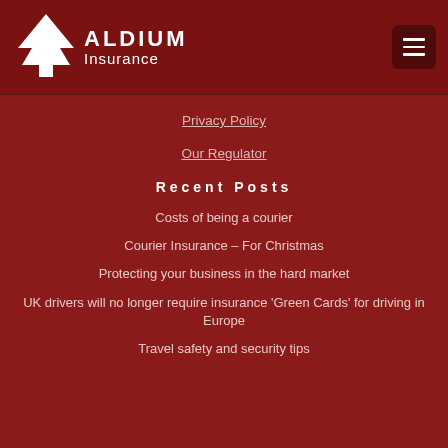[Figure (logo): Aldium Insurance logo with white tree/arrow icon and text ALDIUM Insurance on dark red background]
Privacy Policy
Our Regulator
Recent Posts
Costs of being a courier
Courier Insurance – For Christmas
Protecting your business in the hard market
UK drivers will no longer require insurance 'Green Cards' for driving in Europe
Travel safety and security tips